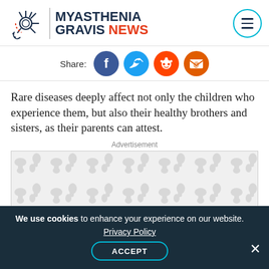MYASTHENIA GRAVIS NEWS
Share:
Rare diseases deeply affect not only the children who experience them, but also their healthy brothers and sisters, as their parents can attest.
Advertisement
[Figure (other): Advertisement placeholder box with light grey pattern background]
We use cookies to enhance your experience on our website. Privacy Policy ACCEPT